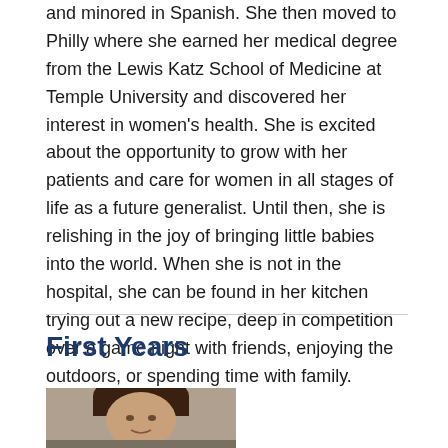and minored in Spanish. She then moved to Philly where she earned her medical degree from the Lewis Katz School of Medicine at Temple University and discovered her interest in women's health. She is excited about the opportunity to grow with her patients and care for women in all stages of life as a future generalist. Until then, she is relishing in the joy of bringing little babies into the world. When she is not in the hospital, she can be found in her kitchen trying out a new recipe, deep in competition over a game night with friends, enjoying the outdoors, or spending time with family.
First Years
[Figure (photo): Headshot photo of a woman with dark hair, partial view showing face and shoulders against a neutral background]